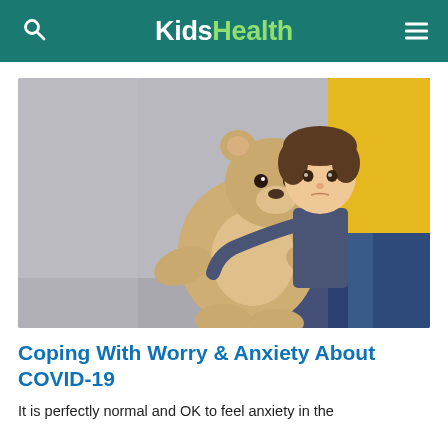KidsHealth
[Figure (photo): A young child hugging a large teddy bear, leaning against an adult wearing a yellow sweater and jeans. The background is a plain grey wall.]
Coping With Worry & Anxiety About COVID-19
It is perfectly normal and OK to feel anxiety in the